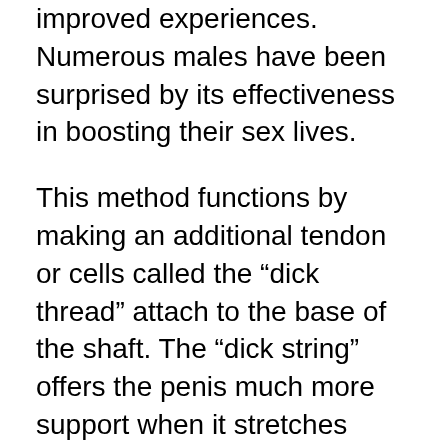improved experiences. Numerous males have been surprised by its effectiveness in boosting their sex lives.
This method functions by making an additional tendon or cells called the “dick thread” attach to the base of the shaft. The “dick string” offers the penis much more support when it stretches further. To make certain that the penis is stretched properly, the penis must be firmly pressed against the stretched location. penis extension is easy to use; it has an elastic ball loop that links to the head of the penis. The “dick thread” is after that inserted into the shaft after which it is linked to the “elastic ball loop”.
The penis extender that uses an elastic ball